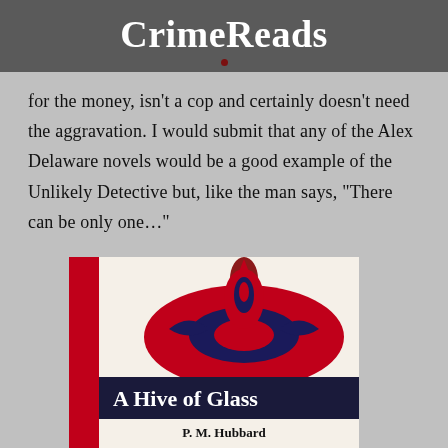CrimeReads
for the money, isn’t a cop and certainly doesn’t need the aggravation. I would submit that any of the Alex Delaware novels would be a good example of the Unlikely Detective but, like the man says, “There can be only one…”
[Figure (photo): Book cover of 'A Hive of Glass' by P.M. Hubbard, showing a red decorative mushroom-like ornament on a white background with red spine, title in bold white text on dark band, author name below.]